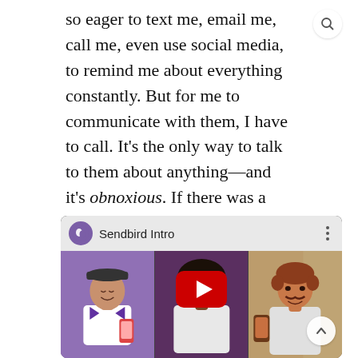so eager to text me, email me, call me, even use social media, to remind me about everything constantly. But for me to communicate with them, I have to call. It's the only way to talk to them about anything—and it's obnoxious. If there was a dentist in town where I knew I could fire up a quick digital chat with them to book things, I'd literally switch dentists. Even better if I could click a button in a browser to call them or do a video consult. That's just good business.
[Figure (screenshot): YouTube embed thumbnail for 'Sendbird Intro' video showing three illustrated characters in panels: a woman with a cap holding a phone, a woman with natural hair, and a man with a mustache holding a phone. A YouTube play button is overlaid in the center. The top bar shows the Sendbird logo and title 'Sendbird Intro'.]